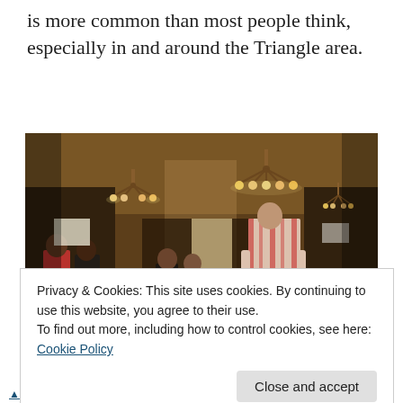is more common than most people think, especially in and around the Triangle area.
[Figure (photo): Interior of a casual diner/restaurant with warm lighting from chandeliers and pendant lights. Dark wood-paneled walls, customers seated at tables, a person in striped shirt and jeans standing at a table in the foreground.]
Privacy & Cookies: This site uses cookies. By continuing to use this website, you agree to their use.
To find out more, including how to control cookies, see here: Cookie Policy
Close and accept